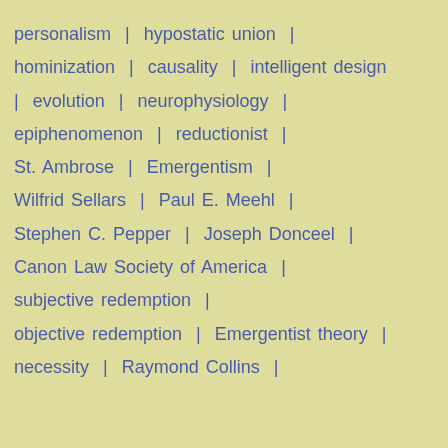personalism | hypostatic union | hominization | causality | intelligent design | evolution | neurophysiology | epiphenomenon | reductionist | St. Ambrose | Emergentism | Wilfrid Sellars | Paul E. Meehl | Stephen C. Pepper | Joseph Donceel | Canon Law Society of America | subjective redemption | objective redemption | Emergentist theory | necessity | Raymond Collins |